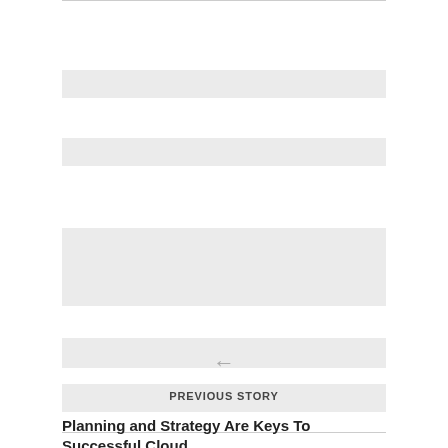[Figure (other): Placeholder grey bars representing redacted or loading content]
←
PREVIOUS STORY
Planning and Strategy Are Keys To Successful Cloud